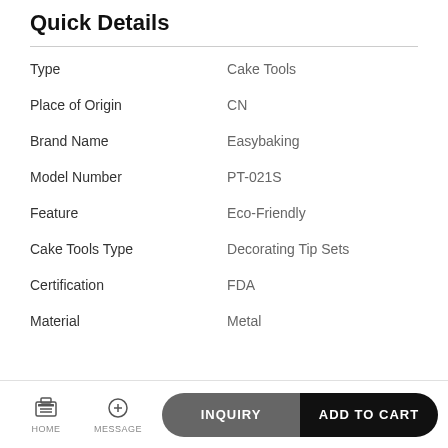Quick Details
| Attribute | Value |
| --- | --- |
| Type | Cake Tools |
| Place of Origin | CN |
| Brand Name | Easybaking |
| Model Number | PT-021S |
| Feature | Eco-Friendly |
| Cake Tools Type | Decorating Tip Sets |
| Certification | FDA |
| Material | Metal |
HOME  MESSAGE  INQUIRY  ADD TO CART